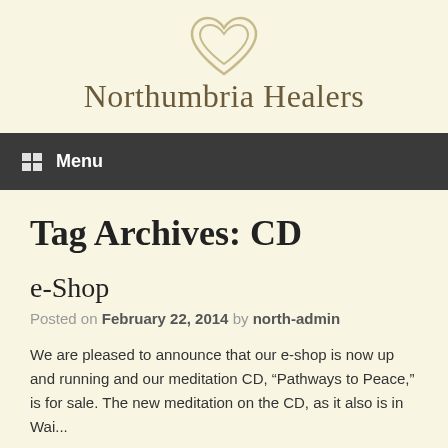[Figure (logo): Heart outline logo above site title]
Northumbria Healers
Menu
Tag Archives: CD
e-Shop
Posted on February 22, 2014 by north-admin
We are pleased to announce that our e-shop is now up and running and our meditation CD, “Pathways to Peace,” is for sale. The new meditation on the CD, as it also is in Wai...